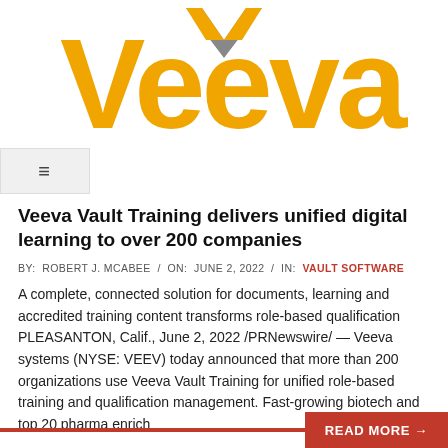[Figure (logo): Veeva logo — large orange letters spelling 'Veeva' with a grey/orange downward-pointing chevron triangle above the first 'e']
≡ (hamburger navigation menu icon)
Veeva Vault Training delivers unified digital learning to over 200 companies
BY: ROBERT J. MCABEE / ON: JUNE 2, 2022 / IN: VAULT SOFTWARE
A complete, connected solution for documents, learning and accredited training content transforms role-based qualification PLEASANTON, Calif., June 2, 2022 /PRNewswire/ — Veeva systems (NYSE: VEEV) today announced that more than 200 organizations use Veeva Vault Training for unified role-based training and qualification management. Fast-growing biotech and top 20 pharma enrich
READ MORE →